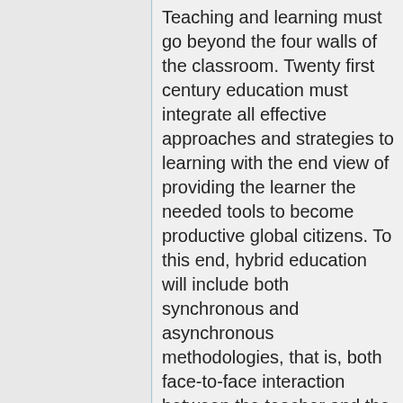Teaching and learning must go beyond the four walls of the classroom. Twenty first century education must integrate all effective approaches and strategies to learning with the end view of providing the learner the needed tools to become productive global citizens. To this end, hybrid education will include both synchronous and asynchronous methodologies, that is, both face-to-face interaction between the teacher and the student and the use of the information highway that offers endless options using search engines on the web like wikipedia and various Web 2.0